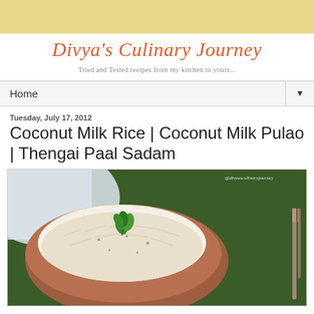[Figure (illustration): Top decorative banner, light yellow/tan color]
Divya's Culinary Journey
Tried and Tested recipes from my kitchen to yours...
Home ▼
Tuesday, July 17, 2012
Coconut Milk Rice | Coconut Milk Pulao | Thengai Paal Sadam
[Figure (photo): A white bowl filled with coconut milk rice/pulao garnished with mint leaves, placed on a green surface with a white cloth and fork visible. Watermark reads @divyasculinaryjourney.]